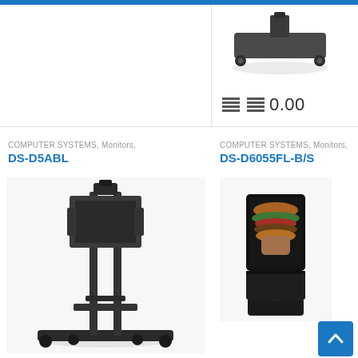[Figure (photo): Partial image of a monitor/TV stand base with wheels, dark gray, shown from above at an angle]
0.00
COMPUTER SYSTEMS, Monitors,
DS-D5ABL
COMPUTER SYSTEMS, Monitors,
DS-D6055FL-B/S
[Figure (photo): A tall mobile TV/monitor stand with wheels, black metal frame, with bracket for mounting a flat screen display and a lower shelf]
[Figure (photo): A vertical digital signage display kiosk showing a food/burger advertisement, black enclosure with stand]